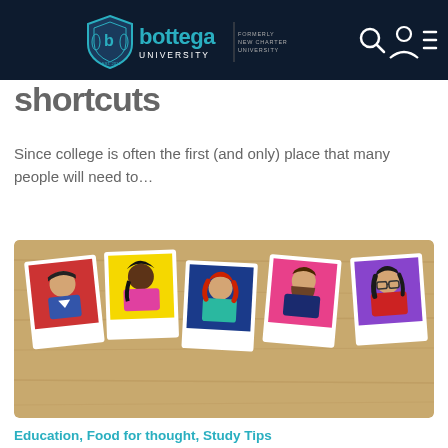Bottega University (formerly New Charter University)
shortcuts
Since college is often the first (and only) place that many people will need to…
[Figure (illustration): Five polaroid-style portrait illustrations of diverse students pinned on a wooden board background. Characters include: a boy with black hair on red background, a dark-skinned woman with black hair on yellow background, a woman with red hair on blue background, a bearded man on pink background, and a woman with glasses on purple background.]
Education, Food for thought, Study Tips